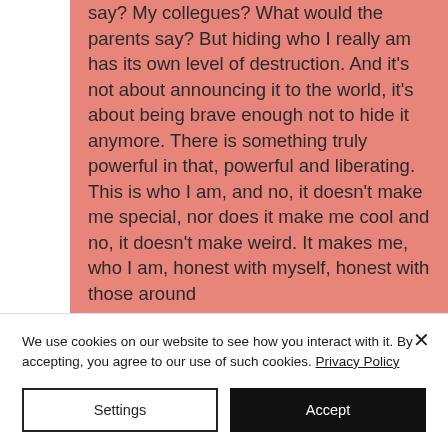say? My collegues? What would the parents say? But hiding who I really am has its own level of destruction. And it's not about announcing it to the world, it's about being brave enough not to hide it anymore. There is something truly powerful in that, powerful and liberating.  This is who I am, and no, it doesn't make me special, nor does it make me cool and no, it doesn't make weird. It makes me, who I am, honest with myself, honest with those around
We use cookies on our website to see how you interact with it. By accepting, you agree to our use of such cookies. Privacy Policy
Settings
Accept